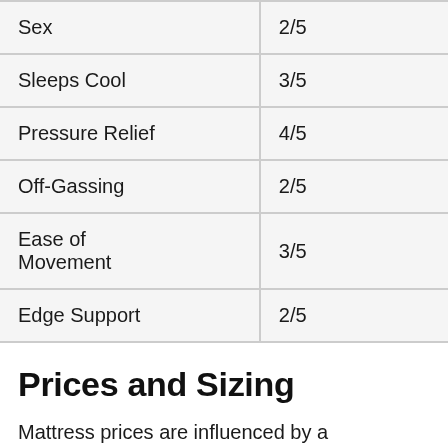| Category | Rating |
| --- | --- |
| Sex | 2/5 |
| Sleeps Cool | 3/5 |
| Pressure Relief | 4/5 |
| Off-Gassing | 2/5 |
| Ease of Movement | 3/5 |
| Edge Support | 2/5 |
Prices and Sizing
Mattress prices are influenced by a